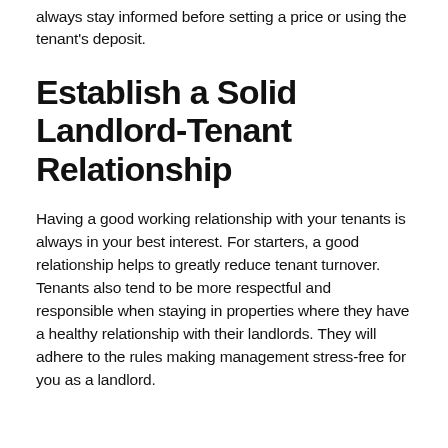always stay informed before setting a price or using the tenant's deposit.
Establish a Solid Landlord-Tenant Relationship
Having a good working relationship with your tenants is always in your best interest. For starters, a good relationship helps to greatly reduce tenant turnover. Tenants also tend to be more respectful and responsible when staying in properties where they have a healthy relationship with their landlords. They will adhere to the rules making management stress-free for you as a landlord.